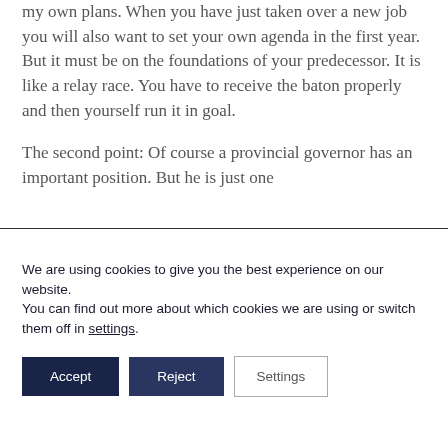my own plans. When you have just taken over a new job you will also want to set your own agenda in the first year. But it must be on the foundations of your predecessor. It is like a relay race. You have to receive the baton properly and then yourself run it in goal.
The second point: Of course a provincial governor has an important position. But he is just one
We are using cookies to give you the best experience on our website.
You can find out more about which cookies we are using or switch them off in settings.